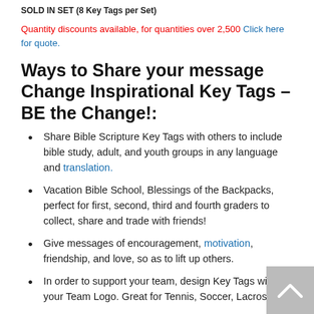SOLD IN SET (8 Key Tags per Set)
Quantity discounts available, for quantities over 2,500 Click here for quote.
Ways to Share your message Change Inspirational Key Tags – BE the Change!:
Share Bible Scripture Key Tags with others to include bible study, adult, and youth groups in any language and translation.
Vacation Bible School, Blessings of the Backpacks, perfect for first, second, third and fourth graders to collect, share and trade with friends!
Give messages of encouragement, motivation, friendship, and love, so as to lift up others.
In order to support your team, design Key Tags with your Team Logo. Great for Tennis, Soccer, Lacrosse